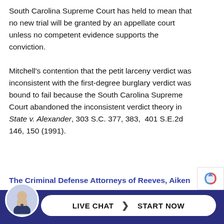South Carolina Supreme Court has held to mean that no new trial will be granted by an appellate court unless no competent evidence supports the conviction.
Mitchell’s contention that the petit larceny verdict was inconsistent with the first-degree burglary verdict was bound to fail because the South Carolina Supreme Court abandoned the inconsistent verdict theory in State v. Alexander, 303 S.C. 377, 383, 401 S.E.2d 146, 150 (1991).
The Criminal Defense Attorneys of Reeves, Aiken & Hightower
If you or someone you know has been charged with any crime, call the experienced South Carolina criminal defense attorneys of Reeves, Aiken &